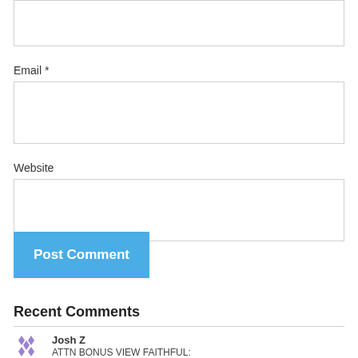Email *
Website
Post Comment
Recent Comments
Josh Z
ATTN BONUS VIEW FAITHFUL: